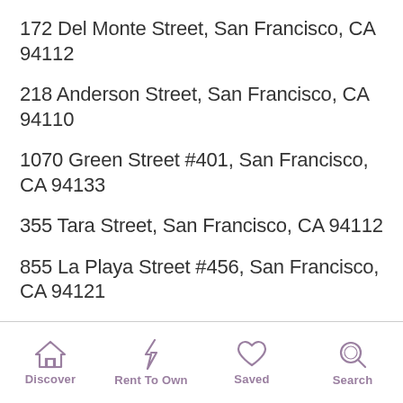172 Del Monte Street, San Francisco, CA 94112
218 Anderson Street, San Francisco, CA 94110
1070 Green Street #401, San Francisco, CA 94133
355 Tara Street, San Francisco, CA 94112
855 La Playa Street #456, San Francisco, CA 94121
1101 Brussels St, San Francisco, CA 94134
249 Hoffman Avenue, San Francisco, CA 94114
3464 19th Street, San Francisco, CA 94110
168 Sylvan Drive, San Francisco, CA 94132
Discover  Rent To Own  Saved  Search